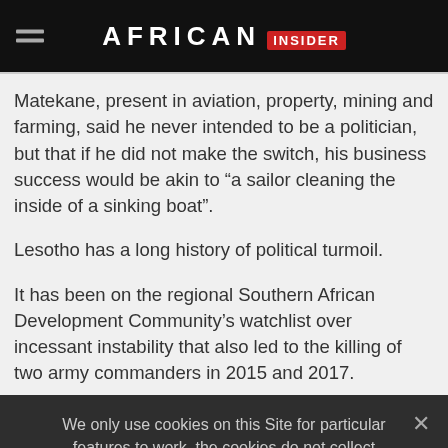AFRICAN INSIDER
Matekane, present in aviation, property, mining and farming, said he never intended to be a politician, but that if he did not make the switch, his business success would be akin to “a sailor cleaning the inside of a sinking boat”.
Lesotho has a long history of political turmoil.
It has been on the regional Southern African Development Community’s watchlist over incessant instability that also led to the killing of two army commanders in 2015 and 2017.
We only use cookies on this Site for particular features to work, the cookies do not collect and/or store any personal information about you.